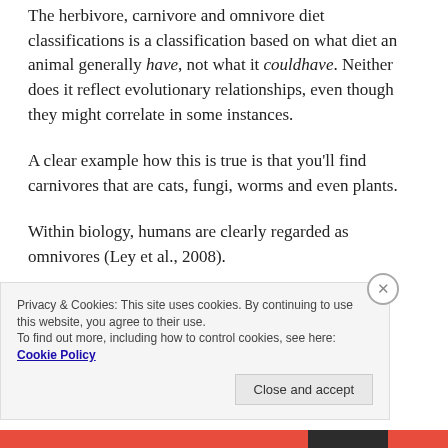The herbivore, carnivore and omnivore diet classifications is a classification based on what diet an animal generally have, not what it couldhave. Neither does it reflect evolutionary relationships, even though they might correlate in some instances.
A clear example how this is true is that you'll find carnivores that are cats, fungi, worms and even plants.
Within biology, humans are clearly regarded as omnivores (Ley et al., 2008).
Privacy & Cookies: This site uses cookies. By continuing to use this website, you agree to their use. To find out more, including how to control cookies, see here: Cookie Policy